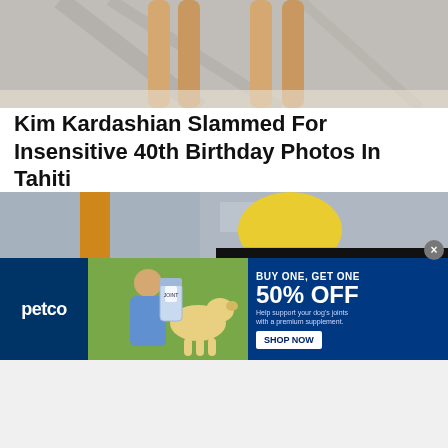[Figure (photo): Cropped photo showing legs of people standing, likely on a beach with palm tree shadows]
Kim Kardashian Slammed For Insensitive 40th Birthday Photos In Tahiti
[Figure (photo): Photo of a construction worker in a yellow hard hat, viewed from behind, wearing a plaid shirt]
[Figure (screenshot): Advertisement overlay with black header reading 'Advertisement' with X close button, orange background showing 'Most Popular Products Updated Weekly!' with shopping icons]
[Figure (photo): Petco banner advertisement: BUY ONE, GET ONE 50% OFF. Help support your dog's joints with a premium supplement. Shop Now button. Shows woman with golden retriever dog and supplement bottle.]